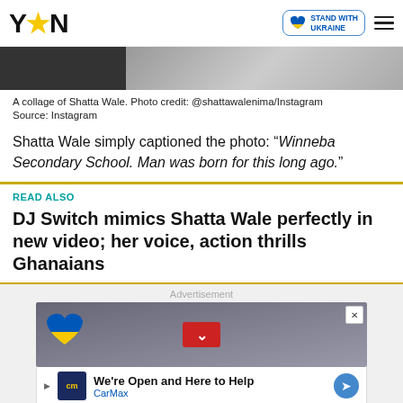YEN — Stand with Ukraine
[Figure (photo): Collage of Shatta Wale, black and white photo strip]
A collage of Shatta Wale. Photo credit: @shattawalenima/Instagram
Source: Instagram
Shatta Wale simply captioned the photo: “Winneba Secondary School. Man was born for this long ago.”
READ ALSO
DJ Switch mimics Shatta Wale perfectly in new video; her voice, action thrills Ghanaians
[Figure (screenshot): Advertisement block with Ukraine heart logo, CarMax banner ad]